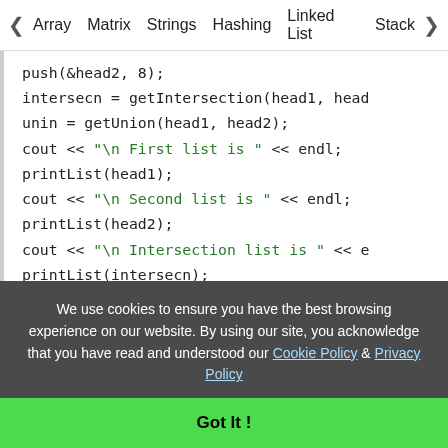< Array  Matrix  Strings  Hashing  Linked List  Stack >
[Figure (screenshot): C++ code snippet showing push, getIntersection, getUnion, cout statements with string literals in blue/green, printList calls, and a return 0 statement, followed by a comment about code contribution by zishanahmad7]
We use cookies to ensure you have the best browsing experience on our website. By using our site, you acknowledge that you have read and understood our Cookie Policy & Privacy Policy
Got It !